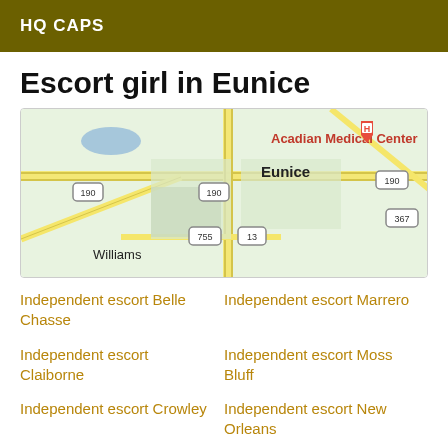HQ CAPS
Escort girl in Eunice
[Figure (map): Google Maps view of Eunice, Louisiana showing Acadian Medical Center, route 190, 367, 755, 13, and Williams area]
Independent escort Belle Chasse
Independent escort Marrero
Independent escort Claiborne
Independent escort Moss Bluff
Independent escort Crowley
Independent escort New Orleans